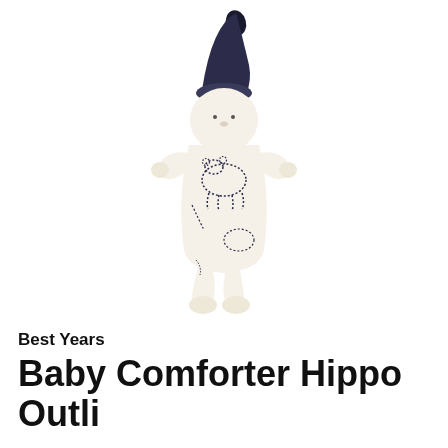[Figure (photo): A soft baby comforter doll with a dark navy pointed knot hat, a round pale head with small facial features, and a cream/off-white body decorated with dark blue hippo outline print patterns. The doll has small stubby arms and legs with rounded feet, photographed on a white background.]
Best Years
Baby Comforter Hippo Outli...